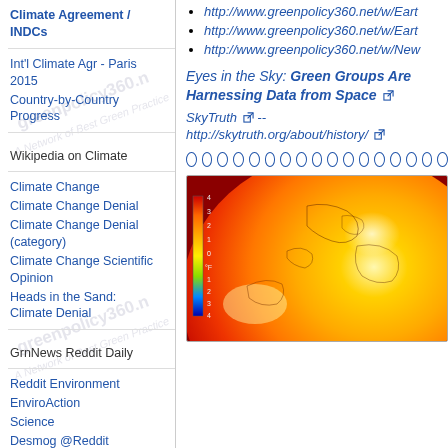http://www.greenpolicy360.net/w/Eart
http://www.greenpolicy360.net/w/Eart
http://www.greenpolicy360.net/w/New
Climate Agreement / INDCs
Int'l Climate Agr - Paris 2015
Country-by-Country Progress
Wikipedia on Climate
Climate Change
Climate Change Denial
Climate Change Denial (category)
Climate Change Scientific Opinion
Heads in the Sand: Climate Denial
GrnNews Reddit Daily
Reddit Environment
EnviroAction
Science
Desmog @Reddit
Eyes in the Sky: Green Groups Are Harnessing Data from Space
SkyTruth -- http://skytruth.org/about/history/
[Figure (other): Row of small open circles used as decorative separator/pagination dots]
[Figure (photo): Globe/Earth temperature map showing heat distribution in orange, yellow and red tones with a temperature scale on the left side in Fahrenheit]